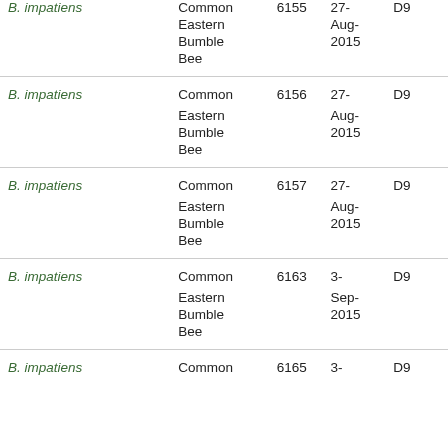| Species | Common Name | ID | Date |  |
| --- | --- | --- | --- | --- |
| B. impatiens | Common Eastern Bumble Bee | 6155 | 27-Aug-2015 | D9... |
| B. impatiens | Common Eastern Bumble Bee | 6156 | 27-Aug-2015 | D9... |
| B. impatiens | Common Eastern Bumble Bee | 6157 | 27-Aug-2015 | D9... |
| B. impatiens | Common Eastern Bumble Bee | 6163 | 3-Sep-2015 | D9... |
| B. impatiens | Common Eastern Bumble Bee | 6165 | 3- | D9... |